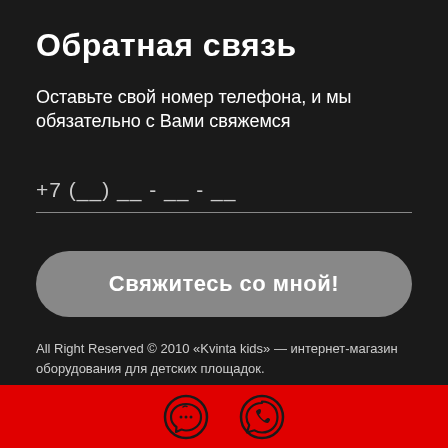Обратная связь
Оставьте свой номер телефона, и мы обязательно с Вами свяжемся
+7 (__) __ - __ - __
Свяжитесь со мной!
All Right Reserved © 2010 «Kvinta kids» — интернет-магазин оборудования для детских площадок.